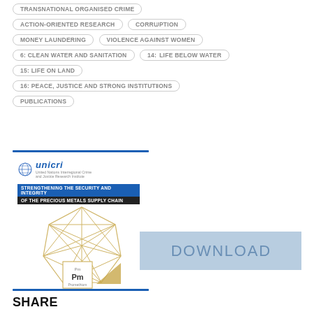TRANSNATIONAL ORGANISED CRIME
ACTION-ORIENTED RESEARCH
CORRUPTION
MONEY LAUNDERING
VIOLENCE AGAINST WOMEN
6: CLEAN WATER AND SANITATION
14: LIFE BELOW WATER
15: LIFE ON LAND
16: PEACE, JUSTICE AND STRONG INSTITUTIONS
PUBLICATIONS
[Figure (logo): UNICRI logo with globe icon and text]
[Figure (illustration): Book cover showing geometric diamond shape made of gold lines with element symbol Pm and text: STRENGTHENING THE SECURITY AND INTEGRITY OF THE PRECIOUS METALS SUPPLY CHAIN]
[Figure (other): DOWNLOAD button in light blue]
SHARE